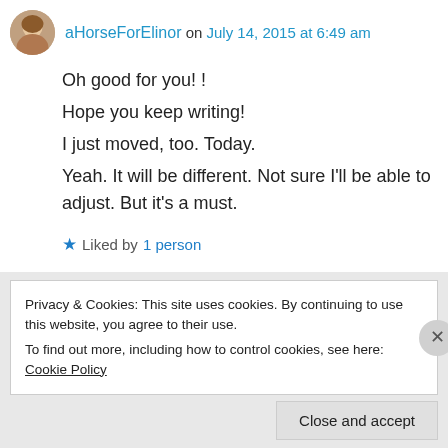aHorseForElinor on July 14, 2015 at 6:49 am
Oh good for you! !
Hope you keep writing!
I just moved, too. Today.
Yeah. It will be different. Not sure I'll be able to adjust. But it's a must.
★ Liked by 1 person
↵ Reply
Privacy & Cookies: This site uses cookies. By continuing to use this website, you agree to their use.
To find out more, including how to control cookies, see here: Cookie Policy
Close and accept